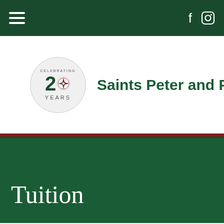Navigation bar with hamburger menu and social icons (Facebook, Instagram)
[Figure (logo): Saints Peter and Paul School 20 Years Celebrating logo — circular badge with compass rose and text '20 YEARS']
Saints Peter and Paul Sc
Tuition
Dear Parents: By choosing a Catholic education for yo... made a commitment to give your child an education a...